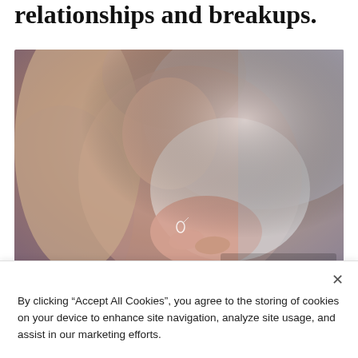relationships and breakups.
[Figure (photo): A woman with long hair looking downward at a small ring held between her fingers, appearing emotionally distressed. A Kasamba 20 Years watermark is visible in the bottom right of the image.]
By clicking “Accept All Cookies”, you agree to the storing of cookies on your device to enhance site navigation, analyze site usage, and assist in our marketing efforts.